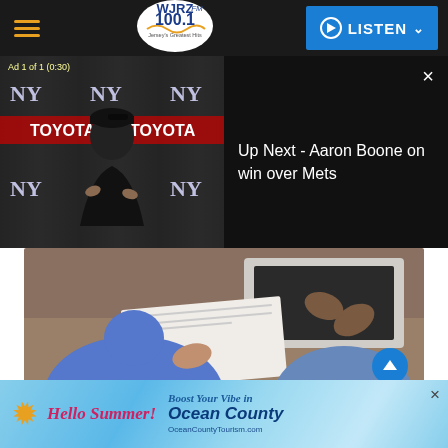WJRZ FM 100.1 – Jersey's Greatest Hits | LISTEN
[Figure (screenshot): Video player showing Yankees press conference with ad overlay. Ad label: 'Ad 1 of 1 (0:30)'. Right panel shows 'Up Next - Aaron Boone on win over Mets' on black background with close X.]
[Figure (photo): Stock photo of two people at a desk with a laptop, hands gesturing over documents.]
Rawpixel.com // Shutterstock
[Figure (infographic): Bottom advertisement banner: Hello Summer! Boost Your Vibe in Ocean County – OceanCountyTourism.com with starfish and beach imagery.]